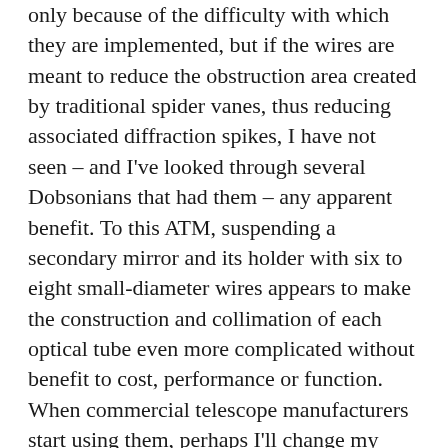only because of the difficulty with which they are implemented, but if the wires are meant to reduce the obstruction area created by traditional spider vanes, thus reducing associated diffraction spikes, I have not seen – and I've looked through several Dobsonians that had them – any apparent benefit. To this ATM, suspending a secondary mirror and its holder with six to eight small-diameter wires appears to make the construction and collimation of each optical tube even more complicated without benefit to cost, performance or function. When commercial telescope manufacturers start using them, perhaps I'll change my mind, but that's not likely.
Speaking of innovation, many of the improvements we now take for granted have come at the price of